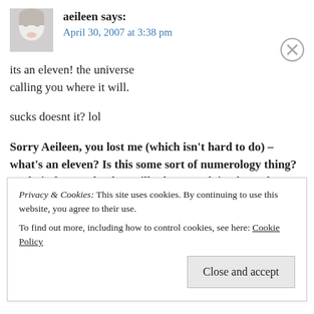[Figure (photo): Small avatar photo of a person with light complexion and blue eyes, cropped close to face]
aeileen says:
April 30, 2007 at 3:38 pm
its an eleven! the universe calling you where it will.

sucks doesnt it? lol
Sorry Aeileen, you lost me (which isn't hard to do) – what's an eleven? Is this some sort of numerology thing? Yeah, it does suck – but still, please explain about the eleven part. Thanks.
WC
Privacy & Cookies: This site uses cookies. By continuing to use this website, you agree to their use.
To find out more, including how to control cookies, see here: Cookie Policy
Close and accept